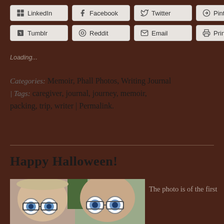LinkedIn | Facebook | Twitter | Pinterest | Tumblr | Reddit | Email | Print
Loading...
Categories: Memoir, Phall Photos, Writing Journal | Tags: caregiver, journal, journey, memoir, packing, trip, writer | Permalink.
Happy Halloween!
[Figure (photo): Two people wearing novelty bug-eye glasses as a Halloween costume]
The photo is of the first